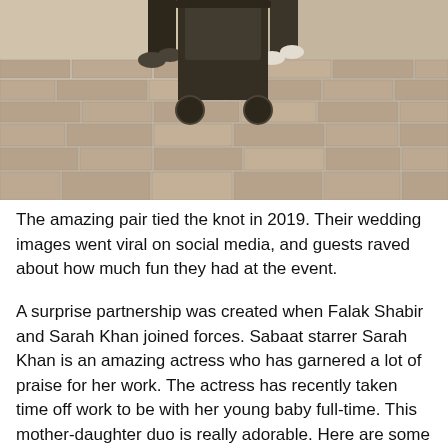[Figure (photo): Black and white photo of two people walking on a paved brick walkway, pushing a baby stroller. The photo is taken from behind, showing the lower halves of the people and the stroller. Both are dressed in dark clothing.]
The amazing pair tied the knot in 2019. Their wedding images went viral on social media, and guests raved about how much fun they had at the event.
A surprise partnership was created when Falak Shabir and Sarah Khan joined forces. Sabaat starrer Sarah Khan is an amazing actress who has garnered a lot of praise for her work. The actress has recently taken time off work to be with her young baby full-time. This mother-daughter duo is really adorable. Here are some of the most beautiful pictures of Falak Shabir and Sarah